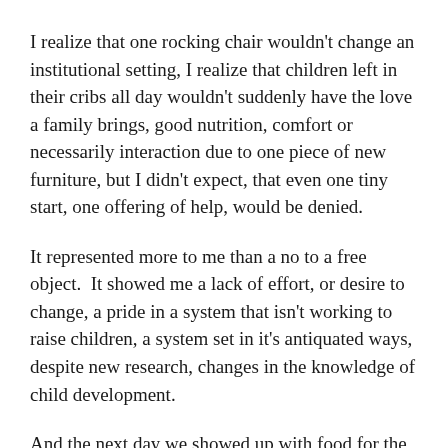I realize that one rocking chair wouldn't change an institutional setting, I realize that children left in their cribs all day wouldn't suddenly have the love a family brings, good nutrition, comfort or necessarily interaction due to one piece of new furniture, but I didn't expect, that even one tiny start, one offering of help, would be denied.
It represented more to me than a no to a free object.  It showed me a lack of effort, or desire to change, a pride in a system that isn't working to raise children, a system set in it's antiquated ways, despite new research, changes in the knowledge of child development.
And the next day we showed up with food for the kids.
As they rocked their bodies, and reached their skinny, small arms